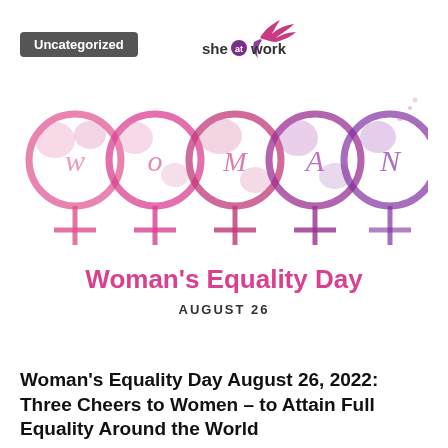Uncategorized
[Figure (logo): She at Work logo with pink/purple bird graphic]
[Figure (illustration): Woman's Equality Day illustration: five pink and purple watercolor female gender symbols arranged in a row, each containing letters W, O, M, A, N. Below the symbols text reads 'Woman's Equality Day' in pink and 'AUGUST 26' in dark text.]
Woman's Equality Day August 26, 2022: Three Cheers to Women – to Attain Full Equality Around the World